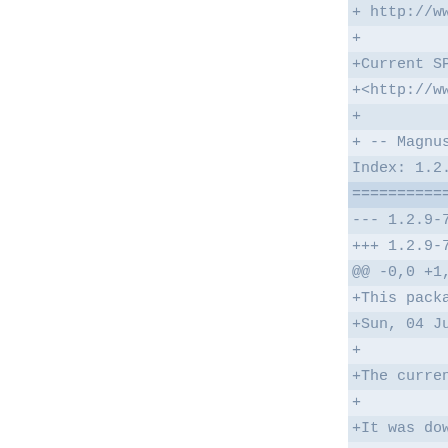+ http://www.libspf2...
+
+Current SPF specifications c...
+<http://www.openspf.org/Sp...
+
+ -- Magnus Holmgren <holmgren@debian.org>,...
Index: 1.2.9-7/debian/co...
===================================================
--- 1.2.9-7/debian/copyright (
+++ 1.2.9-7/debian/copyright
@@ -0,0 +1,61 @@
+This package was debianized by Eric Dor...
+Sun, 04 Jul 2004 19:00:...
+
+The current maintainer is Magnus Holmgre...
+
+It was downloaded from http:/...
+
+Upstream autho...
+ - Current maintainer: Shevek <lib...
+ - Contributors: Magnus Holmgren, Julia...
+ Dan Kaminsky, Ben Chelf, Hannah S...